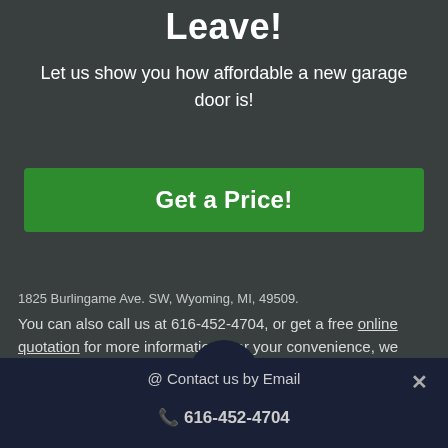Leave!
Let us show you how affordable a new garage door is!
[Figure (other): Green call-to-action button labeled 'Get a Price!']
1825 Burlingame Ave. SW, Wyoming, MI, 49509. You can also call us at 616-452-4704, or get a free online quotation for more information. For your convenience, we offer free in-home consultations.
@ Contact us by Email
616-452-4704